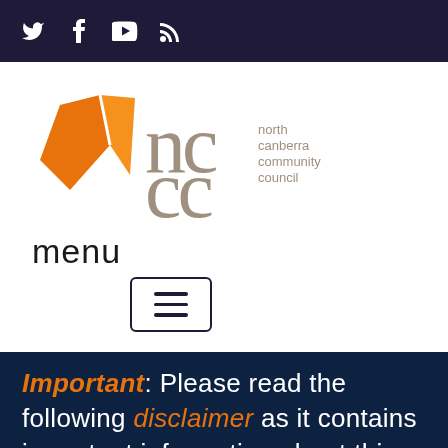Social media icons: Twitter, Facebook, YouTube, RSS
[Figure (logo): North Canberra Community Council logo with orange geometric shape and 'nccc' text in grey with full name 'north canberra community council']
menu
[Figure (other): Hamburger menu button - square button with three horizontal lines]
Important: Please read the following disclaimer as it contains important information about this website and the conditions relating to your...